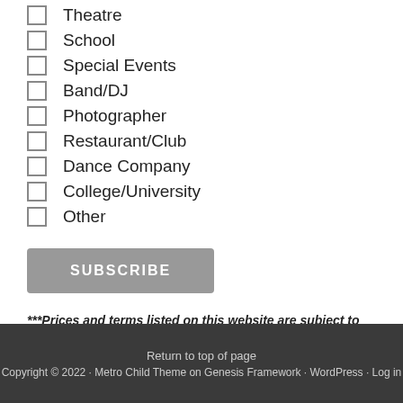Theatre
School
Special Events
Band/DJ
Photographer
Restaurant/Club
Dance Company
College/University
Other
SUBSCRIBE
***Prices and terms listed on this website are subject to change. ALSS is an Equal Opportunity Employer.***
Return to top of page
Copyright © 2022 · Metro Child Theme on Genesis Framework · WordPress · Log in